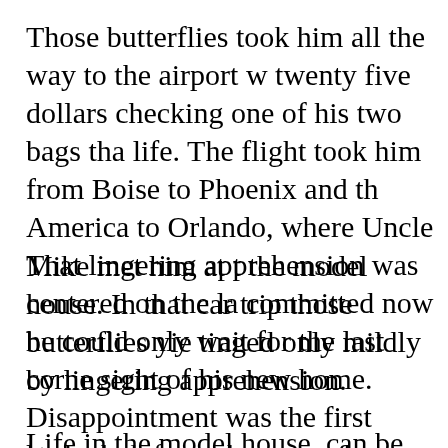Those butterflies took him all the way to the airport where he spent twenty five dollars checking one of his two bags that contained his whole life. The flight took him from Boise to Phoenix and then with US America to Orlando, where Uncle Mike met him at the airport and drove to the model house. In that car trip those butterflies yielded to excitement, tinged only mildly by lingering apprehension.
That lingering apprehension was centered on the layout. Though he was committed now he could only wait for the last corner to be turned and the sight of his new home. Disappointment was the first reaction. Though it looked ok from the street the house inside was a wreck. For that first night Justin slept in the living room, and then he shared a room with another boy. Now they share a bed.
Life in the model house, can be crowded, noisy, and...